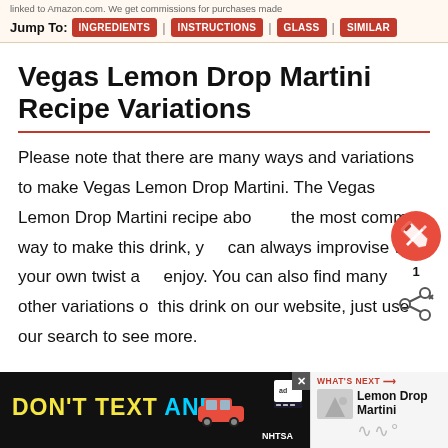linked to Amazon.com. We get commissions for purchases made
Jump To: INGREDIENTS | INSTRUCTIONS | GLASS | SIMILAR
Vegas Lemon Drop Martini Recipe Variations
Please note that there are many ways and variations to make Vegas Lemon Drop Martini. The Vegas Lemon Drop Martini recipe above is the most common way to make this drink, you can always improvise with your own twist and enjoy. You can also find many other variations of this drink on our website, just use our search to see more.
[Figure (other): Ad banner: DON'T TEXT AND [car illustration] with NHTSA logo and ad badge]
WHAT'S NEXT → Lemon Drop Martini